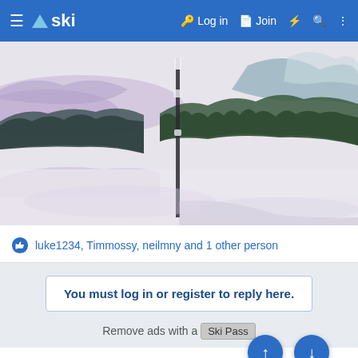ski — Log in  Join
[Figure (illustration): Watercolor painting of a winter mountain landscape with snow-covered foreground, dark evergreen trees in the middle ground, mountains in the background, and a lone vertical tree/pole in the center. Purple and blue-green washes suggest snowy hills and distant peaks.]
luke1234, Timmossy, neilmny and 1 other person
You must log in or register to reply here.
Remove ads with a Ski Pass
Similar threads